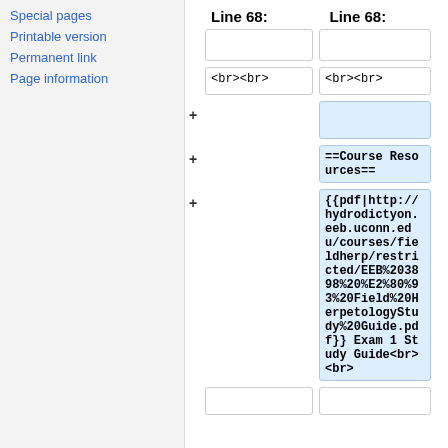Special pages
Printable version
Permanent link
Page information
Line 68: (left column header)
Line 68: (right column header)
(empty diff cell left row 1)
(empty diff cell right row 1)
<br><br> (left)
<br><br> (right)
+ (empty added cell right)
+ ==Course Resources==
+ {{pdf|http://hydrodictyon.eeb.uconn.edu/courses/fieldherp/restricted/EEB%203898%20%E2%80%93%20Field%20HerpetologyStudy%20Guide.pdf}} Exam 1 Study Guide<br><br>